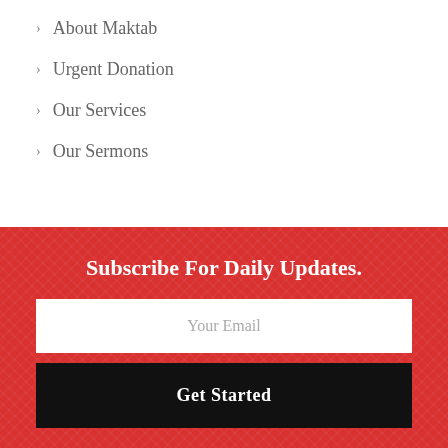About Maktab
Urgent Donation
Our Services
Our Sermons
Subscribe For Daily Updates.
Your Email
Get Started